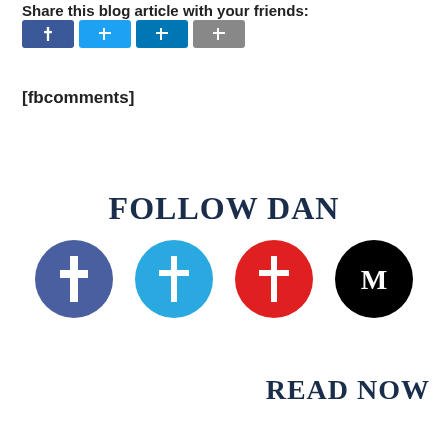Share this blog article with your friends:
[Figure (other): Four social share buttons: Facebook (blue), Twitter (light blue), LinkedIn (teal), Email (grey)]
[fbcomments]
FOLLOW DAN
[Figure (other): Four circular social media icons: Facebook (purple-blue), Twitter (light blue), YouTube/Pinterest (red), Medium (black with M)]
READ NOW